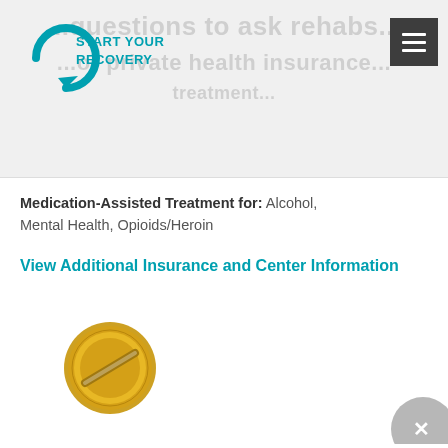[Figure (screenshot): Start Your Recovery website header with logo (circular arrow and 'START YOUR RECOVERY' text in teal), faded background text about insurance, and a dark hamburger menu button in top right]
Medication-Assisted Treatment for: Alcohol, Mental Health, Opioids/Heroin
View Additional Insurance and Center Information
[Figure (illustration): Gold circular badge/seal with a diagonal stripe design]
Accepting Patients Today (i)